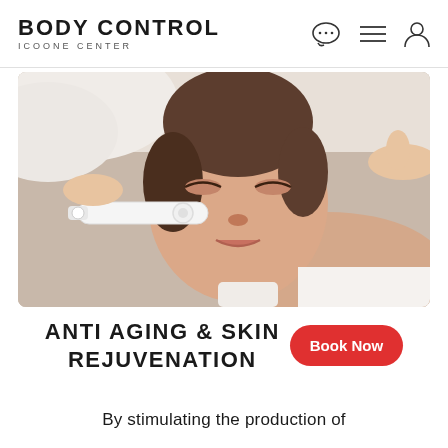BODY CONTROL ICOONE CENTER
[Figure (photo): Woman lying down receiving a facial treatment with a white handheld device applied to her cheek, hands of therapist visible, spa/clinic setting]
ANTI AGING & SKIN REJUVENATION
By stimulating the production of